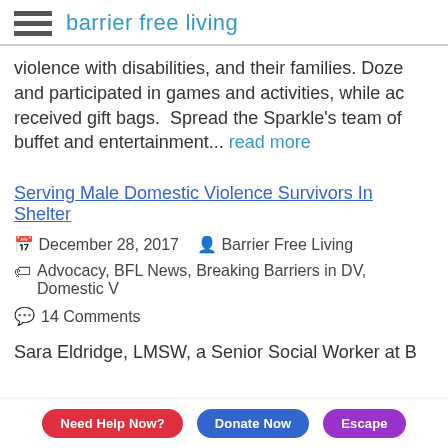barrier free living
violence with disabilities, and their families. Doze and participated in games and activities, while ac received gift bags.  Spread the Sparkle's team of buffet and entertainment... read more
Serving Male Domestic Violence Survivors In Shelter
December 28, 2017   Barrier Free Living
Advocacy, BFL News, Breaking Barriers in DV, Domestic V
14 Comments
Sara Eldridge, LMSW, a Senior Social Worker at B